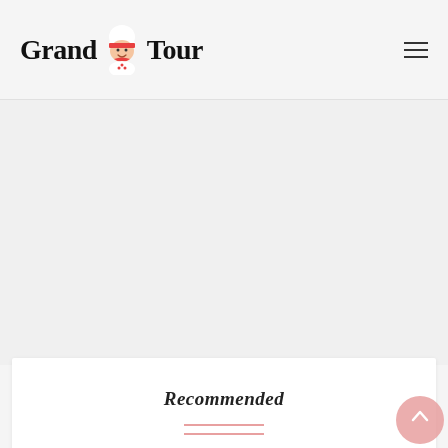Grand Tour
[Figure (logo): Grand Tour website logo with chef mascot character between 'Grand' and 'Tour' text]
Recommended
[Figure (photo): Food photo thumbnail showing Indian Onion Pancakes with sunflowers, with a pink badge overlay in the top-left corner]
Indian Onion Pancakes